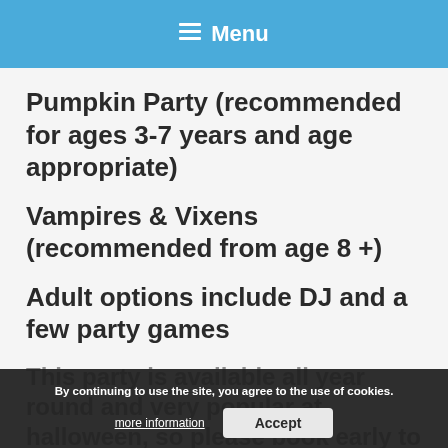Menu
Pumpkin Party (recommended for ages 3-7 years and age appropriate)
Vampires & Vixens (recommended from age 8 +)
Adult options include DJ and a few party games
This party is available all year round and very popular at halloween, so please book early to avoid disappointment.
By continuing to use the site, you agree to the use of cookies. more information   Accept